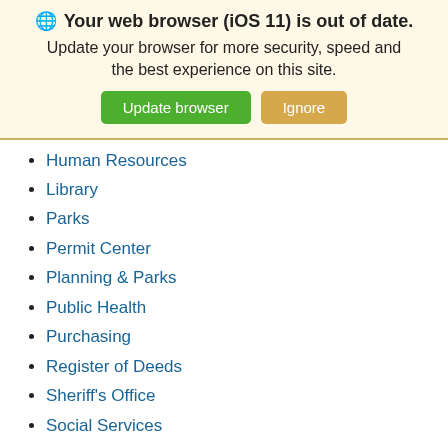🌐 Your web browser (iOS 11) is out of date. Update your browser for more security, speed and the best experience on this site.
Human Resources
Library
Parks
Permit Center
Planning & Parks
Public Health
Purchasing
Register of Deeds
Sheriff's Office
Social Services
Soil & Water Conservation
Solid Waste/Recycling
Tax
Technology
Utilities & Engineering
Veteran's Services